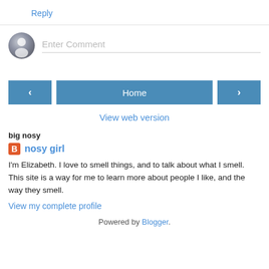Reply
[Figure (illustration): User avatar circle (grey silhouette) with 'Enter Comment' input field below a horizontal line]
[Figure (other): Navigation buttons: left arrow button, Home button, right arrow button]
View web version
big nosy
nosy girl
I'm Elizabeth. I love to smell things, and to talk about what I smell. This site is a way for me to learn more about people I like, and the way they smell.
View my complete profile
Powered by Blogger.